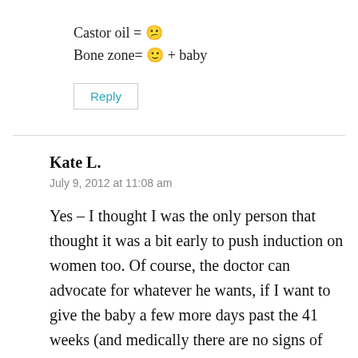Castor oil = 😕
Bone zone= 🙂 + baby
Reply
Kate L.
July 9, 2012 at 11:08 am
Yes – I thought I was the only person that thought it was a bit early to push induction on women too. Of course, the doctor can advocate for whatever he wants, if I want to give the baby a few more days past the 41 weeks (and medically there are no signs of distress) then I would just tell that doctor to